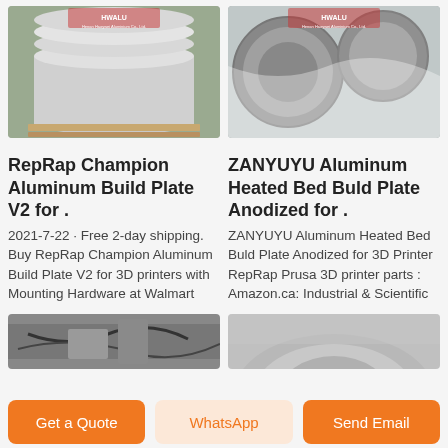[Figure (photo): Stacks of aluminum circular discs/plates on wooden pallet with HWALU/Henan Haoywei Aluminium Co. logo watermark]
[Figure (photo): Close-up of large aluminum circular discs wrapped in plastic with HWALU/Henan Haoywei Aluminium Co. logo watermark]
RepRap Champion Aluminum Build Plate V2 for .
ZANYUYU Aluminum Heated Bed Buld Plate Anodized for .
2021-7-22 · Free 2-day shipping. Buy RepRap Champion Aluminum Build Plate V2 for 3D printers with Mounting Hardware at Walmart
ZANYUYU Aluminum Heated Bed Buld Plate Anodized for 3D Printer RepRap Prusa 3D printer parts : Amazon.ca: Industrial & Scientific
[Figure (photo): Partial view of aluminum build plate with wires/cables]
[Figure (photo): Partial view of aluminum circular disc/plate]
Get a Quote
WhatsApp
Send Email